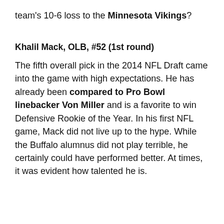team's 10-6 loss to the Minnesota Vikings?
Khalil Mack, OLB, #52 (1st round)
The fifth overall pick in the 2014 NFL Draft came into the game with high expectations. He has already been compared to Pro Bowl linebacker Von Miller and is a favorite to win Defensive Rookie of the Year. In his first NFL game, Mack did not live up to the hype. While the Buffalo alumnus did not play terrible, he certainly could have performed better. At times, it was evident how talented he is.